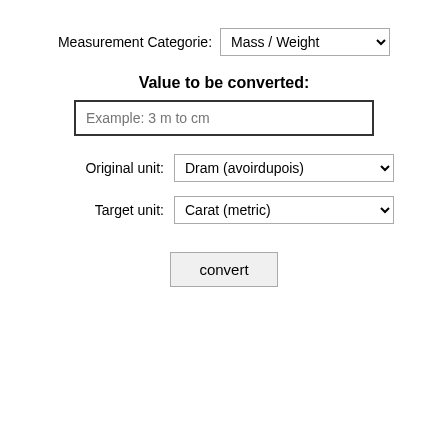Measurement Categorie: Mass / Weight
Value to be converted:
Example: 3 m to cm
Original unit: Dram (avoirdupois)
Target unit: Carat (metric)
convert